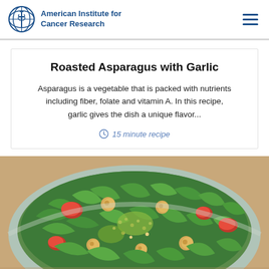American Institute for Cancer Research
Roasted Asparagus with Garlic
Asparagus is a vegetable that is packed with nutrients including fiber, folate and vitamin A. In this recipe, garlic gives the dish a unique flavor...
15 minute recipe
[Figure (photo): A bowl of salad with chickpeas, greens, tomatoes, and grains, viewed from above]